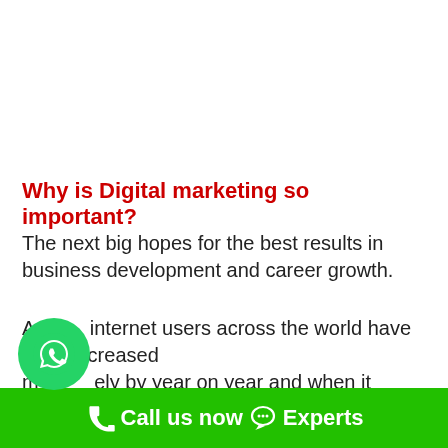Why is Digital marketing so important?
The next big hopes for the best results in business development and career growth.
As internet users across the world have been increased massively by year on year and when it compares to since 2000-2018 the ratio is increasing year by year. Now the fifty percent (50%) of the population around the world are using
[Figure (logo): WhatsApp icon circle with chat bubble symbol]
Call us now  Experts